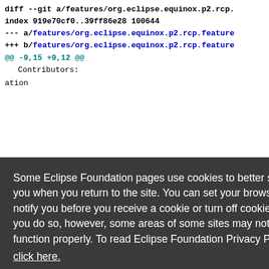diff --git a/features/org.eclipse.equinox.p2.rcp...
index 919e70cf0..39ff86e28 100644
--- a/features/org.eclipse.equinox.p2.rcp.feature...
+++ b/features/org.eclipse.equinox.p2.rcp.feature...
@@ -9,15 +9,12 @@
Contributors:
ation
Some Eclipse Foundation pages use cookies to better serve you when you return to the site. You can set your browser to notify you before you receive a cookie or turn off cookies. If you do so, however, some areas of some sites may not function properly. To read Eclipse Foundation Privacy Policy click here.
ne.org/PO
0.0" xmln
/POM/4.0
parent</a
inox.p2.
diff --git a/features/org.eclipse.equinox.p2.sdk/...